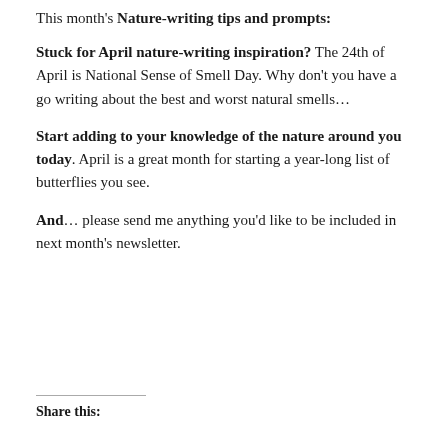This month's Nature-writing tips and prompts:
Stuck for April nature-writing inspiration? The 24th of April is National Sense of Smell Day. Why don't you have a go writing about the best and worst natural smells...
Start adding to your knowledge of the nature around you today. April is a great month for starting a year-long list of butterflies you see.
And... please send me anything you'd like to be included in next month's newsletter.
Share this: